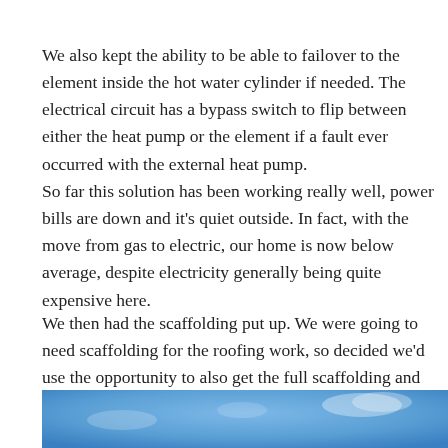We also kept the ability to be able to failover to the element inside the hot water cylinder if needed. The electrical circuit has a bypass switch to flip between either the heat pump or the element if a fault ever occurred with the external heat pump.
So far this solution has been working really well, power bills are down and it's quiet outside. In fact, with the move from gas to electric, our home is now below average, despite electricity generally being quite expensive here.
We then had the scaffolding put up. We were going to need scaffolding for the roofing work, so decided we'd use the opportunity to also get the full scaffolding and walkways around the house.
[Figure (photo): Outdoor photo showing a blue sky with some clouds, partially cropped.]